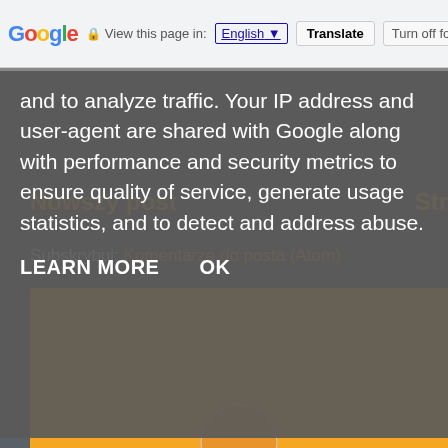Google | View this page in: English | Translate | Turn off for: P
and to analyze traffic. Your IP address and user-agent are shared with Google along with performance and security metrics to ensure quality of service, generate usage statistics, and to detect and address abuse.
LEARN MORE  OK
Nowszy post
Str
Subskrybuj: Komentarze do posta (Atom)
[Figure (photo): Orange rectangle/box at bottom of page, rainy chain background photo behind navigation]